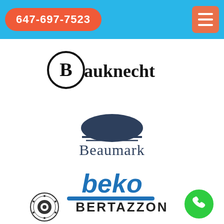647-697-7523
[Figure (logo): Bauknecht brand logo with circular B emblem and bold text]
[Figure (logo): Beaumark brand logo with dome/semicircle graphic above the word Beaumark]
[Figure (logo): beko brand logo in bold blue italic text with blue underline stroke]
[Figure (logo): Bertazzoni brand logo with ornate circular emblem and uppercase text]